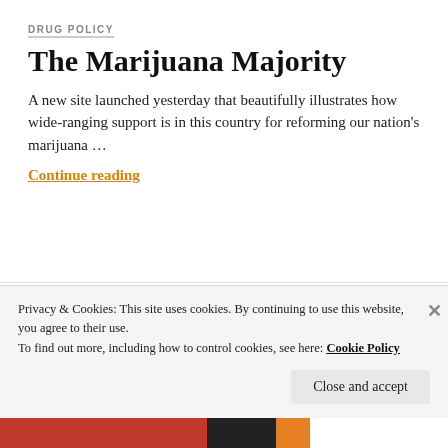DRUG POLICY
The Marijuana Majority
A new site launched yesterday that beautifully illustrates how wide-ranging support is in this country for reforming our nation's marijuana …
Continue reading
EDUCATION POLICY
Minnesota Hates Free Education
Privacy & Cookies: This site uses cookies. By continuing to use this website, you agree to their use.
To find out more, including how to control cookies, see here: Cookie Policy
Close and accept